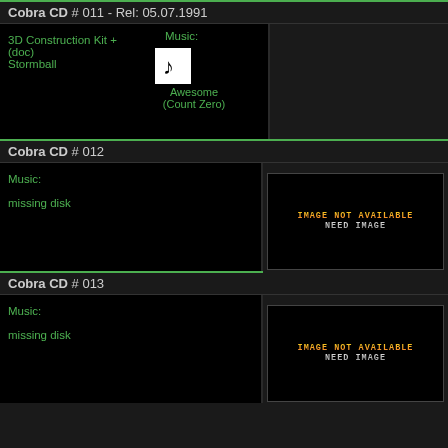Cobra CD # 011 - Rel: 05.07.1991
3D Construction Kit + (doc)
Stormball
Music: Awesome (Count Zero)
[Figure (other): Dark placeholder image area for Cobra CD #011]
Cobra CD # 012
Music: missing disk
[Figure (other): IMAGE NOT AVAILABLE / NEED IMAGE placeholder for Cobra CD #012]
Cobra CD # 013
Music: missing disk
[Figure (other): IMAGE NOT AVAILABLE / NEED IMAGE placeholder for Cobra CD #013]